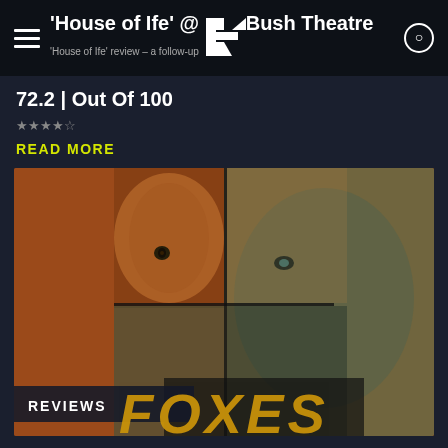'House of Ife' @ The Bush Theatre
72.2 | Out Of 100
READ MORE
[Figure (photo): Promotional image for 'Foxes' theatre production showing a split composite face — left half is a fox animal face, right half is a young Black man's face — on an orange/rust background with teal color grading. The word FOXES appears in large yellow italic letters at the bottom. A REVIEWS badge is overlaid at the lower left.]